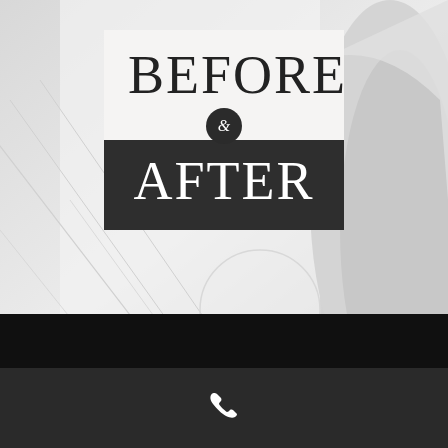[Figure (illustration): Background grayscale photo of a human body/shoulder, with decorative diagonal lines overlaid on the left side. Light gray tones.]
BEFORE & AFTER
[Figure (other): Bottom black banner bar]
[Figure (other): Dark gray bar with white phone handset icon at center bottom]